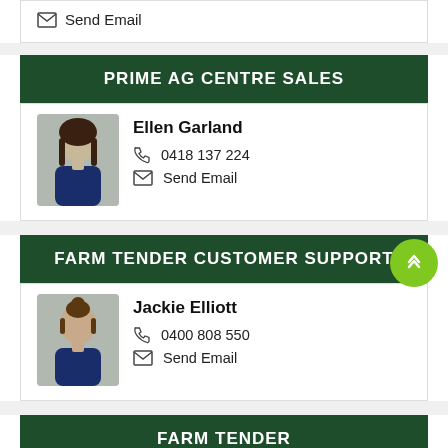Send Email
PRIME AG CENTRE SALES
Ellen Garland
0418 137 224
Send Email
FARM TENDER CUSTOMER SUPPORT
Jackie Elliott
0400 808 550
Send Email
FARM TENDER ADMINISTRATION/ACCOUNTS